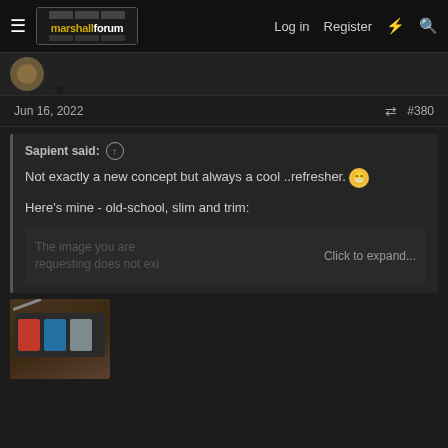marshallforum | Log in | Register
Jun 16, 2022 #380
Sapient said:
Not exactly a new concept but always a cool ..refresher. 😁
Here's mine - old-school, slim and trim:
The image you are requesting does not exi... Click to expand...
[Figure (photo): Photo of guitar effect pedals on a wooden floor - three pedals (red, blue, gray) on a pedalboard]